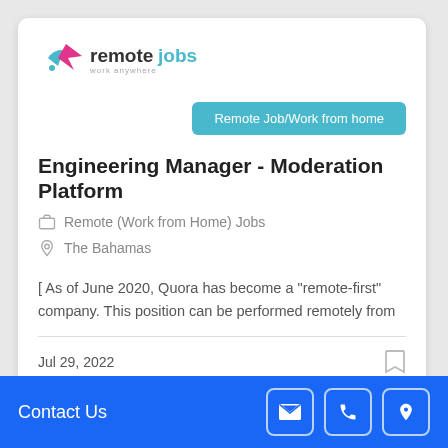[Figure (logo): remotejobs logo with bird/arrow icon and tagline 'work anywhere']
Remote Job/Work from home
Engineering Manager - Moderation Platform
Remote (Work from Home) Jobs
The Bahamas
[ As of June 2020, Quora has become a "remote-first" company. This position can be performed remotely from
Jul 29, 2022
Contact Us